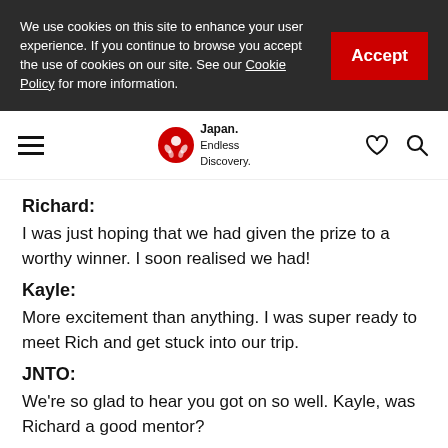We use cookies on this site to enhance your user experience. If you continue to browse you accept the use of cookies on our site. See our Cookie Policy for more information.
Accept
Japan. Endless Discovery. [navigation bar with hamburger menu, logo, heart and search icons]
Richard:
I was just hoping that we had given the prize to a worthy winner. I soon realised we had!
Kayle:
More excitement than anything. I was super ready to meet Rich and get stuck into our trip.
JNTO:
We're so glad to hear you got on so well. Kayle, was Richard a good mentor?